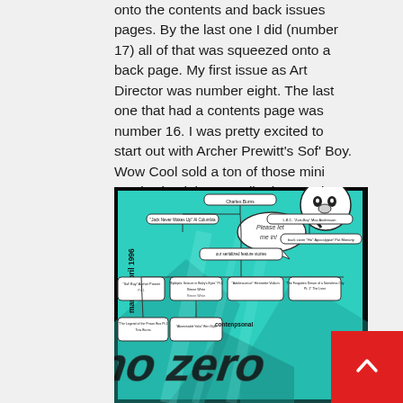onto the contents and back issues pages. By the last one I did (number 17) all of that was squeezed onto a back page. My first issue as Art Director was number eight. The last one that had a contents page was number 16. I was pretty excited to start out with Archer Prewitt's Sof' Boy. Wow Cool sold a ton of those mini comics back in an earlier incarnation. Note the 3D rendering in the background and the inverse perspective on the title. Clever! Math!
[Figure (illustration): A comic book contents page from 'No Zero' magazine, march/april 1996 issue, with a teal/turquoise background, featuring cartoon character artwork, a tree-diagram layout of contents, and stylized graffiti-style title lettering.]